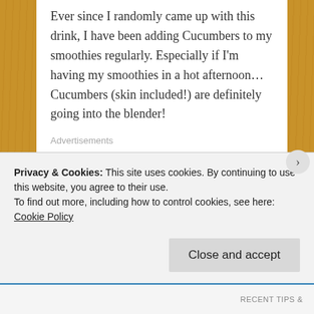Ever since I randomly came up with this drink, I have been adding Cucumbers to my smoothies regularly. Especially if I'm having my smoothies in a hot afternoon… Cucumbers (skin included!) are definitely going into the blender!
Advertisements
I hope this drink helps you to chill a little in this warm climate… Stay cool everyone! 🙂
Til then,
Privacy & Cookies: This site uses cookies. By continuing to use this website, you agree to their use.
To find out more, including how to control cookies, see here: Cookie Policy